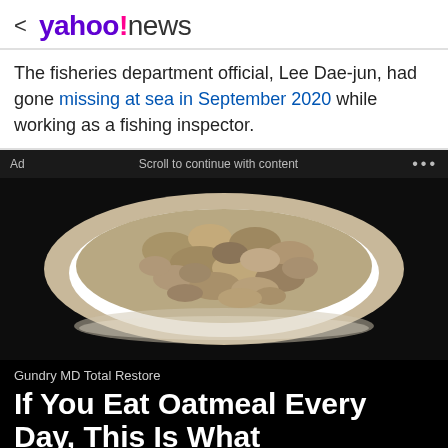< yahoo!news
The fisheries department official, Lee Dae-jun, had gone missing at sea in September 2020 while working as a fishing inspector.
Ad   Scroll to continue with content   ...
[Figure (photo): A white bowl filled with oatmeal/porridge on a dark background]
Gundry MD Total Restore
If You Eat Oatmeal Every Day, This Is What